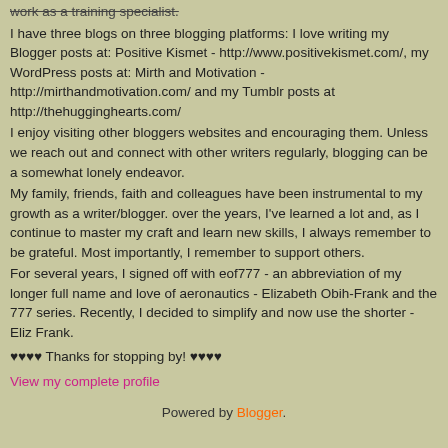work as a training specialist.
I have three blogs on three blogging platforms: I love writing my Blogger posts at: Positive Kismet - http://www.positivekismet.com/, my WordPress posts at: Mirth and Motivation - http://mirthandmotivation.com/ and my Tumblr posts at http://thehugginghearts.com/
I enjoy visiting other bloggers websites and encouraging them. Unless we reach out and connect with other writers regularly, blogging can be a somewhat lonely endeavor.
My family, friends, faith and colleagues have been instrumental to my growth as a writer/blogger. over the years, I've learned a lot and, as I continue to master my craft and learn new skills, I always remember to be grateful. Most importantly, I remember to support others.
For several years, I signed off with eof777 - an abbreviation of my longer full name and love of aeronautics - Elizabeth Obih-Frank and the 777 series. Recently, I decided to simplify and now use the shorter - Eliz Frank.
♥♥♥♥ Thanks for stopping by! ♥♥♥♥
View my complete profile
Powered by Blogger.